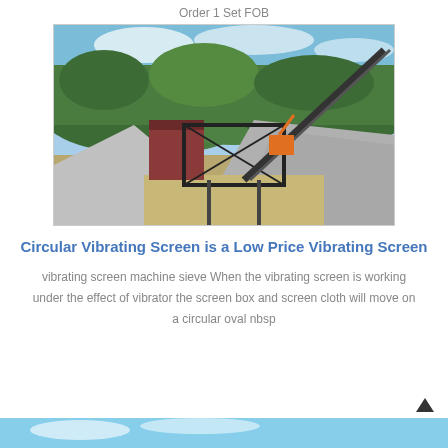Order 1 Set FOB
[Figure (photo): Outdoor quarry or mining site with conveyor belt, metal frame structure, red building, large piles of gravel/aggregate, and forested hills in background under blue sky]
Circular Vibrating Screen is a Low Price Vibrating Screen
vibrating screen machine sieve When the vibrating screen is working under the effect of vibrator the screen box and screen cloth will move on a circular oval nbsp
[Figure (photo): Partial image at bottom of page showing blue sky, appears to be another outdoor equipment photo]